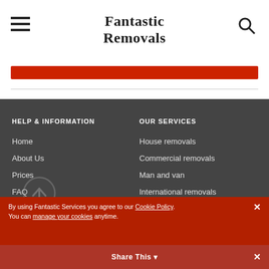Fantastic Removals
[Figure (other): Red horizontal bar below header]
HELP & INFORMATION
OUR SERVICES
Home
About Us
Prices
FAQ
Contact us
House removals
Commercial removals
Man and van
International removals
Moving boxes delivery
By using Fantastic Services you agree to our Cookie Policy. You can manage your cookies anytime.
Share This